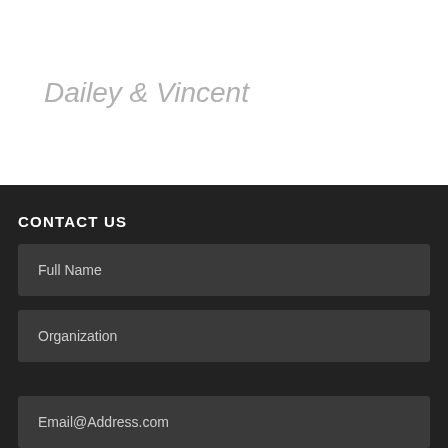Dailey & Vincent
CONTACT US
Full Name
Organization
Email@Address.com